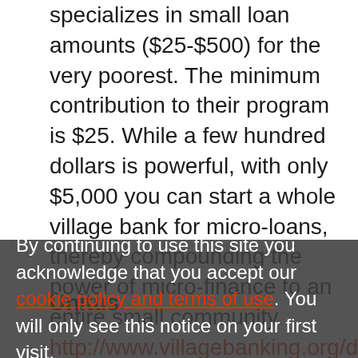specializes in small loan amounts ($25-$500) for the very poorest. The minimum contribution to their program is $25. While a few hundred dollars is powerful, with only $5,000 you can start a whole village bank for micro-loans, thereby compounding the power of micro-finance to an entire small community. http://www.villagebanking.org/donate-vbsponsor.htm
Unitus
By continuing to use this site you acknowledge that you accept our cookie policy and terms of use. You will only see this notice on your first visit.